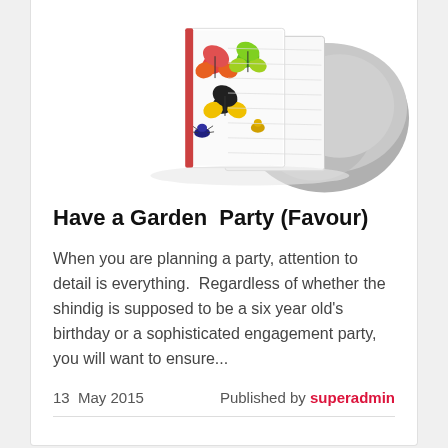[Figure (photo): A butterfly-themed book leaning against a large grey rock, photographed on a white background.]
Have a Garden Party (Favour)
When you are planning a party, attention to detail is everything. Regardless of whether the shindig is supposed to be a six year old's birthday or a sophisticated engagement party, you will want to ensure...
13 May 2015   Published by superadmin
[Figure (illustration): Colorful cartoon child figures in green, purple, yellow, orange, purple, and teal, standing in a row.]